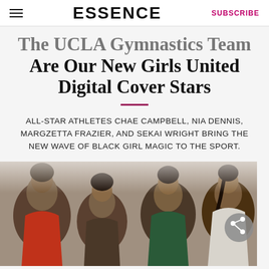ESSENCE | SUBSCRIBE
The UCLA Gymnastics Team Are Our New Girls United Digital Cover Stars
ALL-STAR ATHLETES CHAE CAMPBELL, NIA DENNIS, MARGZETTA FRAZIER, AND SEKAI WRIGHT BRING THE NEW WAVE OF BLACK GIRL MAGIC TO THE SPORT.
[Figure (photo): Four young Black women athletes posing together, dressed in stylish outfits - red, green, and white. Partial view of the group photo cropped at the bottom of the page.]